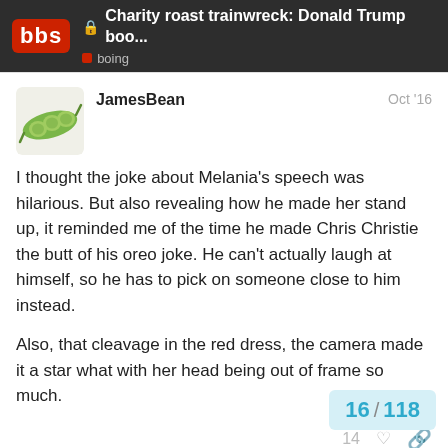Charity roast trainwreck: Donald Trump boo... | boing
JamesBean
Oct '16
I thought the joke about Melania's speech was hilarious. But also revealing how he made her stand up, it reminded me of the time he made Chris Christie the butt of his oreo joke. He can't actually laugh at himself, so he has to pick on someone close to him instead.

Also, that cleavage in the red dress, the camera made it a star what with her head being out of frame so much.
14
JonS
BBS Regular
1
Oct '16
Was trump self deprecating at all? His only
16 / 118